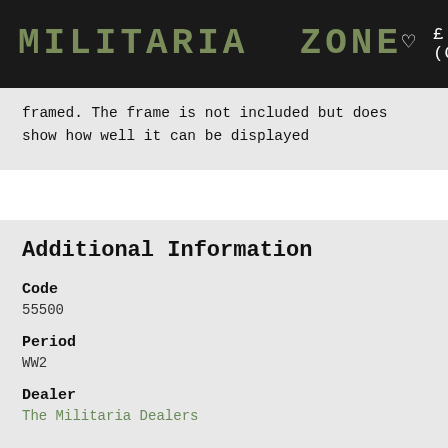MILITARIA ZONE   £ (GBP)
framed. The frame is not included but does show how well it can be displayed
Additional Information
Code
55500
Period
WW2
Dealer
The Militaria Dealers